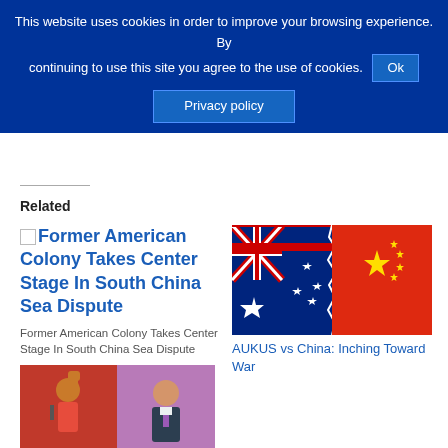This website uses cookies in order to improve your browsing experience. By continuing to use this site you agree to the use of cookies. Ok
Privacy policy
Related
Former American Colony Takes Center Stage In South China Sea Dispute
Former American Colony Takes Center Stage In South China Sea Dispute
[Figure (photo): Australian flag and Chinese flag side by side]
AUKUS vs China: Inching Toward War
[Figure (photo): Two political figures, one raising fist, another smiling in suit]